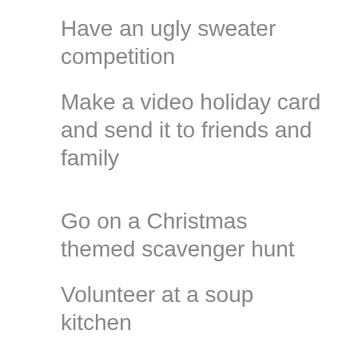Have an ugly sweater competition
Make a video holiday card and send it to friends and family
Go on a Christmas themed scavenger hunt
Volunteer at a soup kitchen
Donate clothes, coats and blankets to a shelter